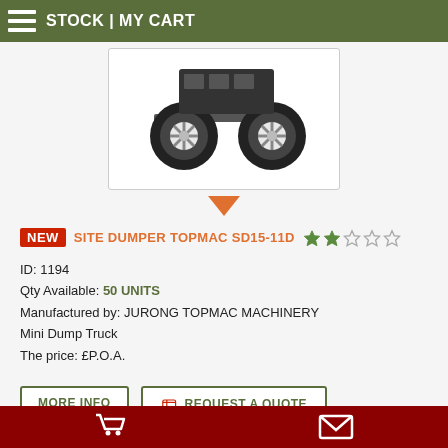STOCK | MY CART
[Figure (photo): Partial product image showing wheels/undercarriage of a site dumper mini dump truck]
NEW  SITE DUMPER TOPMAC SD15-11D  ★★☆☆☆
ID: 1194
Qty Available: 50 UNITS
Manufactured by: JURONG TOPMAC MACHINERY
Mini Dump Truck
The price: £P.O.A.
MORE INFO  |  REQUEST A QUOTE